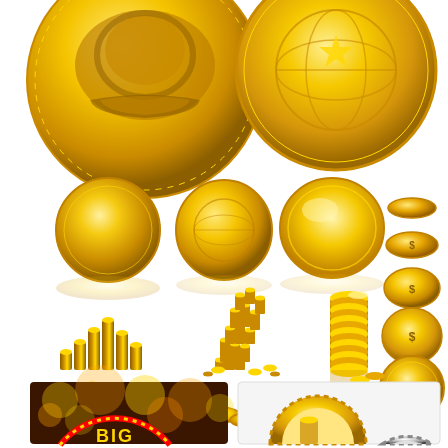[Figure (illustration): Collection of gold coin illustrations and icons: two large gold coins at top (one with lion emblem, one with globe), three medium coins shown from different angles, stacks and piles of gold coins in various arrangements, small coins shown at different tilt angles on right side, and at bottom: a golden bokeh background with circus-style sign, and two semicircular coin/protractor shapes (one gold, one silver).]